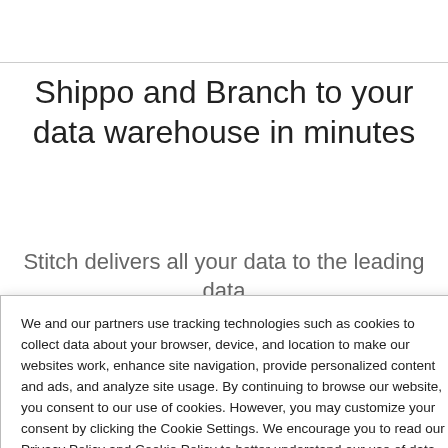Shippo and Branch to your data warehouse in minutes
Stitch delivers all your data to the leading data
We and our partners use tracking technologies such as cookies to collect data about your browser, device, and location to make our websites work, enhance site navigation, provide personalized content and ads, and analyze site usage. By continuing to browse our website, you consent to our use of cookies. However, you may customize your consent by clicking the Cookie Settings. We encourage you to read our Privacy Policy and Cookie Policy to better understand our use of data.
Cookie Settings
Accept Cookies